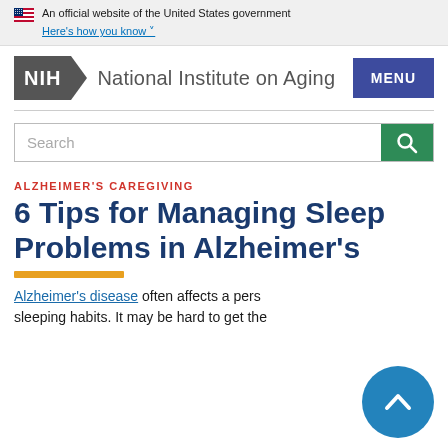An official website of the United States government
Here's how you know
[Figure (logo): NIH National Institute on Aging logo with MENU button]
[Figure (screenshot): Search bar with search button]
ALZHEIMER'S CAREGIVING
6 Tips for Managing Sleep Problems in Alzheimer's
Alzheimer's disease often affects a person's sleeping habits. It may be hard to get the